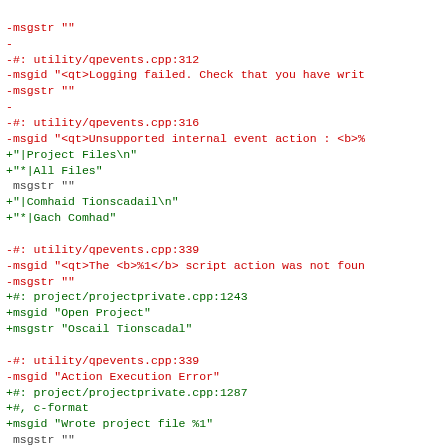diff hunk showing PO/gettext file changes with red removed lines and green added lines
-msgstr ""
-
-#: utility/qpevents.cpp:312
-msgid "<qt>Logging failed. Check that you have writ
-msgstr ""
-
-#: utility/qpevents.cpp:316
-msgid "<qt>Unsupported internal event action : <b>%
+"|Project Files\n"
+"*|All Files"
 msgstr ""
+"|Comhaid Tionscadail\n"
+"*|Gach Comhad"

-#: utility/qpevents.cpp:339
-msgid "<qt>The <b>%1</b> script action was not foun
-msgstr ""
+#: project/projectprivate.cpp:1243
+msgid "Open Project"
+msgstr "Oscail Tionscadal"

-#: utility/qpevents.cpp:339
-msgid "Action Execution Error"
+#: project/projectprivate.cpp:1287
+#, c-format
+msgid "Wrote project file %1"
 msgstr ""

-#: utility/qpevents.cpp:341
-msgid "Unsupported external event action "